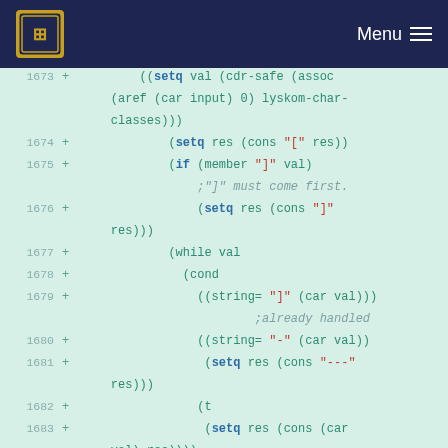Menu
[Figure (screenshot): Code diff viewer showing Lisp/Emacs Lisp code lines 1673-1685 with line numbers, plus signs indicating additions, on a light green background. Code includes setq, if, while, cond, string=, cons, cdr, car operations.]